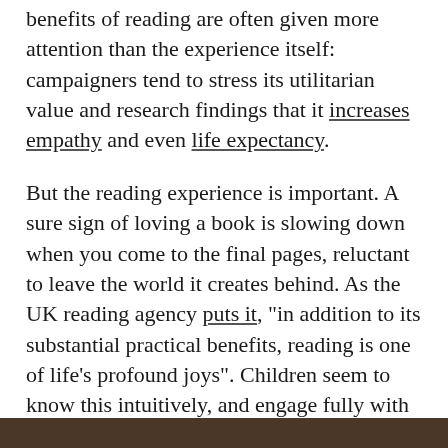benefits of reading are often given more attention than the experience itself: campaigners tend to stress its utilitarian value and research findings that it increases empathy and even life expectancy.
But the reading experience is important. A sure sign of loving a book is slowing down when you come to the final pages, reluctant to leave the world it creates behind. As the UK reading agency puts it, "in addition to its substantial practical benefits, reading is one of life's profound joys". Children seem to know this intuitively, and engage fully with a story, often to the exclusion of all else. They are demanding, honest readers, more interested in what happens in a tale and where it takes them than whether it's a Carnegie prize-winner.